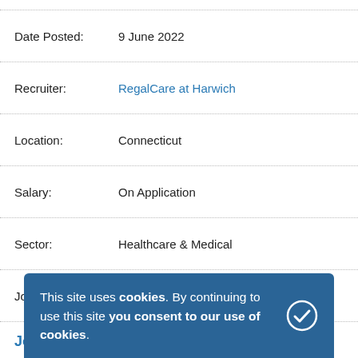| Field | Value |
| --- | --- |
| Date Posted: | 9 June 2022 |
| Recruiter: | RegalCare at Harwich |
| Location: | Connecticut |
| Salary: | On Application |
| Sector: | Healthcare & Medical |
| Job Type: | Permanent |
Job Description
***$8,000 SIGN-ON BONUS***
This site uses cookies. By continuing to use this site you consent to our use of cookies.